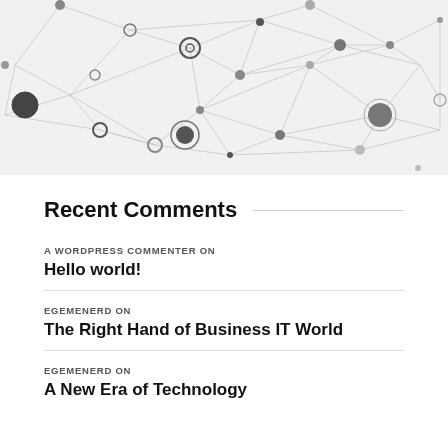[Figure (illustration): Network graph illustration showing interconnected nodes (circles of various sizes, some filled dark, some outlined) connected by thin gray lines on a light gray background.]
Recent Comments
A WORDPRESS COMMENTER ON
Hello world!
EGEMENERD ON
The Right Hand of Business IT World
EGEMENERD ON
A New Era of Technology